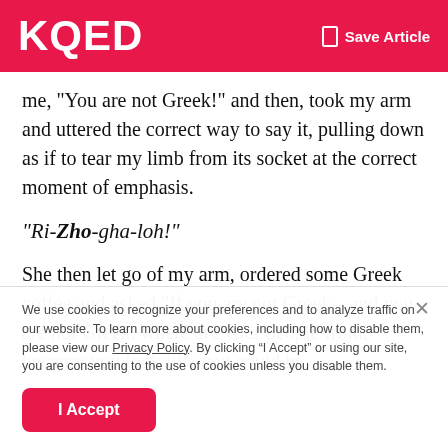KQED | Save Article
me, "You are not Greek!" and then, took my arm and uttered the correct way to say it, pulling down as if to tear my limb from its socket at the correct moment of emphasis.
"Ri-Zho-gha-loh!"
She then let go of my arm, ordered some Greek coffee and asked,"If you are not Greek-- and you are not Greek, where are your people from, because you look like you could be
We use cookies to recognize your preferences and to analyze traffic on our website. To learn more about cookies, including how to disable them, please view our Privacy Policy. By clicking “I Accept” or using our site, you are consenting to the use of cookies unless you disable them.
I Accept